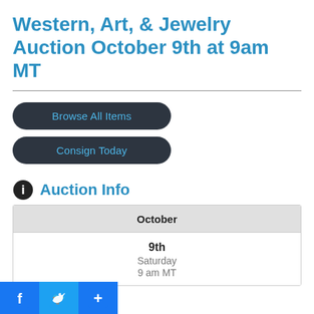Western, Art, & Jewelry Auction October 9th at 9am MT
Browse All Items
Consign Today
Auction Info
| October |
| --- |
| 9th
Saturday
9 am MT |